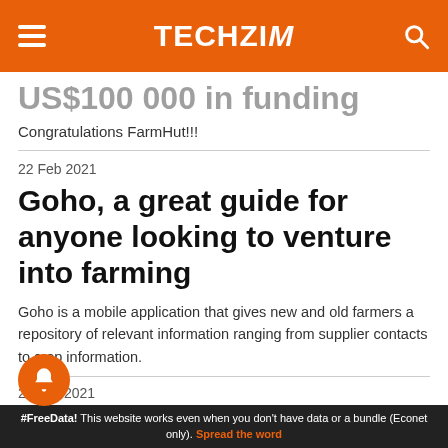TECHZiM
US$100 000 in funding
Congratulations FarmHut!!!
22 Feb 2021
Goho, a great guide for anyone looking to venture into farming
Goho is a mobile application that gives new and old farmers a repository of relevant information ranging from supplier contacts to crop information.
22 Jan 2021
...clear technology is aiding
#FreeData! This website works even when you don't have data or a bundle (Econet only). Spread the word